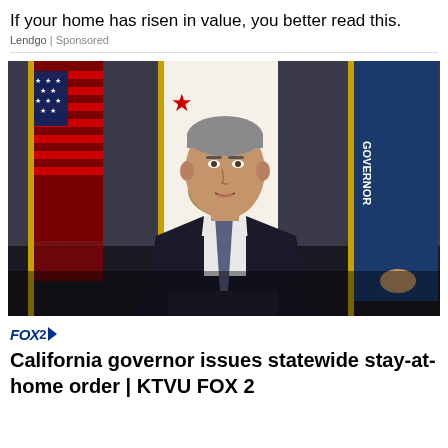If your home has risen in value, you better read this.
Lendgo | Sponsored
[Figure (photo): California Governor Gavin Newsom speaking at a press conference, wearing a dark suit and purple tie, standing in front of California state flag and US flag, with a blue banner reading 'GOVERNOR' visible to the right.]
FOX 2
California governor issues statewide stay-at-home order | KTVU FOX 2